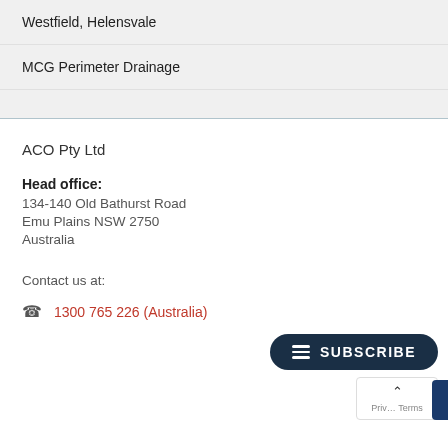Westfield, Helensvale
MCG Perimeter Drainage
ACO Pty Ltd
Head office:
134-140 Old Bathurst Road
Emu Plains NSW 2750
Australia
Contact us at:
1300 765 226 (Australia)